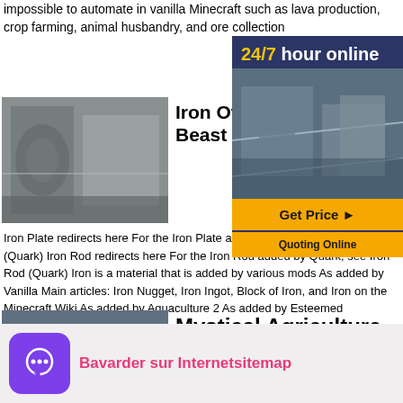impossible to automate in vanilla Minecraft such as lava production, crop farming, animal husbandry, and ore collection
[Figure (photo): Photo of iron/mechanical structures]
Iron Official Feed The Beast
[Figure (infographic): 24/7 hour online advertisement banner with industrial photo, Get Price button, and Quoting Online]
Iron Plate redirects here For the Iron Plate added by Quark, see Iron Plate (Quark) Iron Rod redirects here For the Iron Rod added by Quark, see Iron Rod (Quark) Iron is a material that is added by various mods As added by Vanilla Main articles: Iron Nugget, Iron Ingot, Block of Iron, and Iron on the Minecraft Wiki As added by Aquaculture 2 As added by Esteemed
[Figure (photo): Photo of industrial machinery/CNC machines]
Mystical Agriculture Feed The Beast Wiki
Feed The Beast Unstable 112 Skyfactory 3 Mystical Agriculture is a complete rewrite of Magical Crops mod It allows you to grow essence
[Figure (infographic): Bavarder sur Internetsitemap chat banner with purple icon]